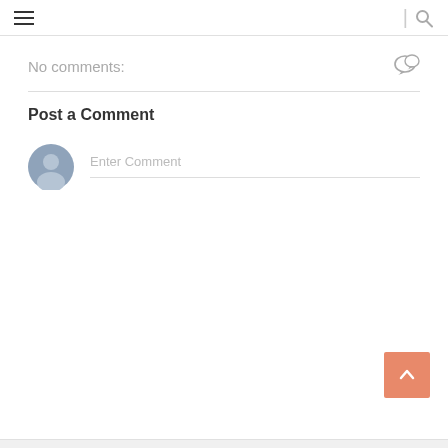[Figure (screenshot): Top navigation bar with hamburger menu icon on left and search icon on right separated by vertical divider]
No comments:
[Figure (other): Comment/speech bubble icon]
Post a Comment
[Figure (other): User avatar placeholder circle with silhouette]
Enter Comment
[Figure (other): Back to top button - orange square with upward chevron arrow]